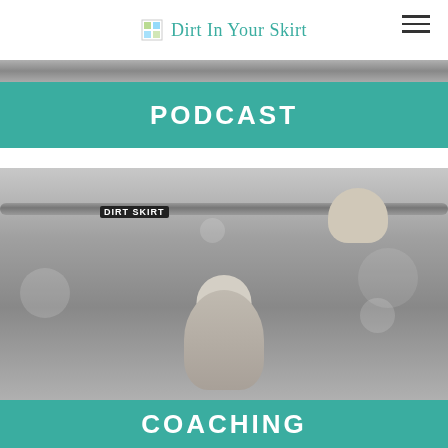Dirt In Your Skirt
[Figure (photo): Dirt In Your Skirt website header with logo icon and text, hamburger menu icon on the right]
PODCAST
[Figure (photo): Black and white photo of a woman doing a pull-up on a bar labeled DIRT IN YOUR SKIRT, smiling, with blurred bokeh background]
COACHING